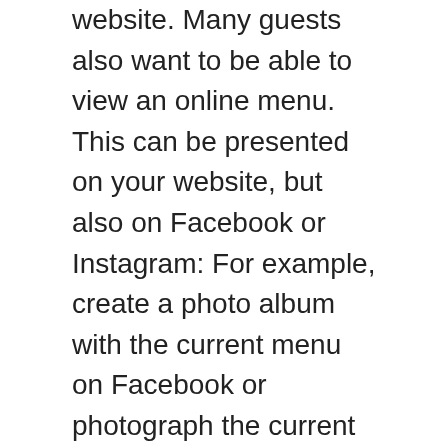website. Many guests also want to be able to view an online menu. This can be presented on your website, but also on Facebook or Instagram: For example, create a photo album with the current menu on Facebook or photograph the current daily offers for Instagram. With Instagram, image quality is very crucial. Also, use relevant hashtags for the posts that you want to be found with your restaurant. Also, use the story function on Instagram and inform your followers about short-term actions and news. Try to always make your social media posts